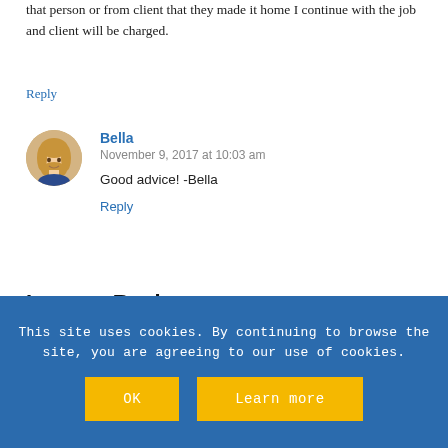that person or from client that they made it home I continue with the job and client will be charged.
Reply
[Figure (photo): Circular avatar photo of Bella, a woman with blonde hair]
Bella
November 9, 2017 at 10:03 am
Good advice! -Bella
Reply
Leave a Reply
This site uses cookies. By continuing to browse the site, you are agreeing to our use of cookies.
OK
Learn more